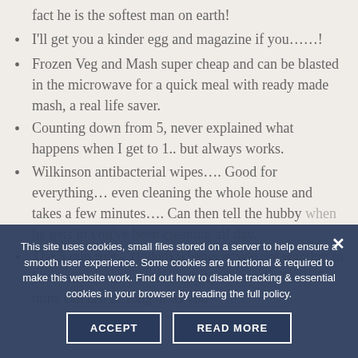I'll get you a kinder egg and magazine if you……!
Frozen Veg and Mash super cheap and can be blasted in the microwave for a quick meal with ready made mash, a real life saver.
Counting down from 5, never explained what happens when I get to 1.. but always works.
Wilkinson antibacterial wipes…. Good for everything… even cleaning the whole house and takes a few minutes…. Can then tell the hubby when he gets in you've been cleaning all day.
The 5 min rule... (faded/partially visible) whenever you are wanting to leave somewhere or turn telly/ipad etc off. These 5 mins can last as long or as you...
This site uses cookies, small files stored on a server to help ensure a smooth user experience. Some cookies are functional & required to make this website work. Find out how to disable tracking & essential cookies in your browser by reading the full policy.